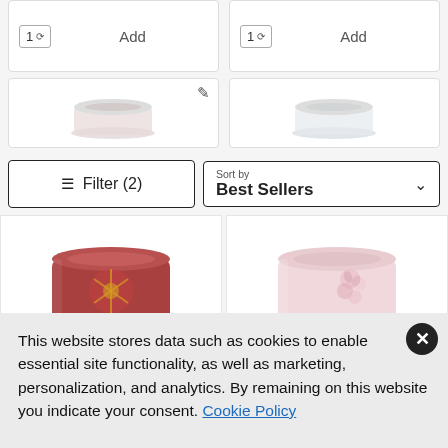[Figure (screenshot): Two product cards showing quantity selector (1 v) and Add button]
[Figure (screenshot): Two product image cards showing small candle product images, one with an edit icon]
Filter (2)
Sort by Best Sellers
[Figure (photo): Dark red candle in glass jar with floral/botanical design]
[Figure (photo): Light pink candle in glass with floral design]
Home Sweet Home®
Pink Cherry & Vanilla
This website stores data such as cookies to enable essential site functionality, as well as marketing, personalization, and analytics. By remaining on this website you indicate your consent. Cookie Policy